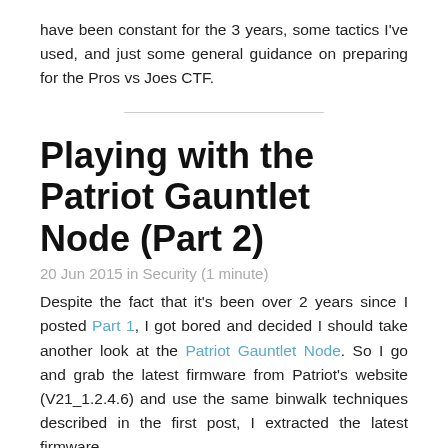have been constant for the 3 years, some tactics I've used, and just some general guidance on preparing for the Pros vs Joes CTF.
Playing with the Patriot Gauntlet Node (Part 2)
20 Jun 2015 in Security (1 minute)
Despite the fact that it's been over 2 years since I posted Part 1, I got bored and decided I should take another look at the Patriot Gauntlet Node. So I go and grab the latest firmware from Patriot's website (V21_1.2.4.6) and use the same binwalk techniques described in the first post, I extracted the latest firmware.
So, the TL;DR is: It's unexciting because Patriot